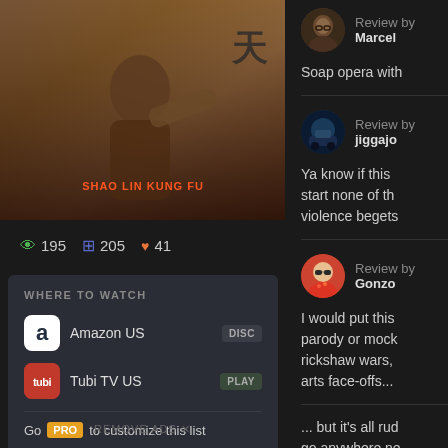[Figure (photo): Movie poster for a Shaolin Kung Fu film showing a fighter in action pose with Chinese characters and red text reading 'SHAO LIN KUNG FU']
195  205  41
WHERE TO WATCH
Amazon US  DISC
Tubi TV US  PLAY
Go PRO to customize this list
All services...  JustWatch
REMOVE ADS ✕
Review by Marcel
Soap opera with
Review by jiggajo
Ya know if this start none of th violence begets
Review by Gonzo
I would put this parody or mock rickshaw wars, arts face-offs...
... but it's all rud go anywhere ne